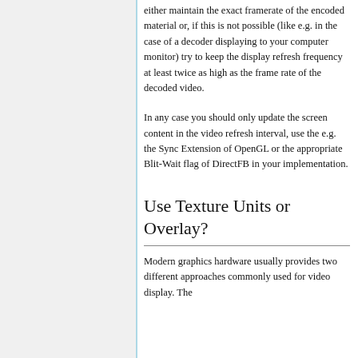either maintain the exact framerate of the encoded material or, if this is not possible (like e.g. in the case of a decoder displaying to your computer monitor) try to keep the display refresh frequency at least twice as high as the frame rate of the decoded video.
In any case you should only update the screen content in the video refresh interval, use the e.g. the Sync Extension of OpenGL or the appropriate Blit-Wait flag of DirectFB in your implementation.
Use Texture Units or Overlay?
Modern graphics hardware usually provides two different approaches commonly used for video display. The